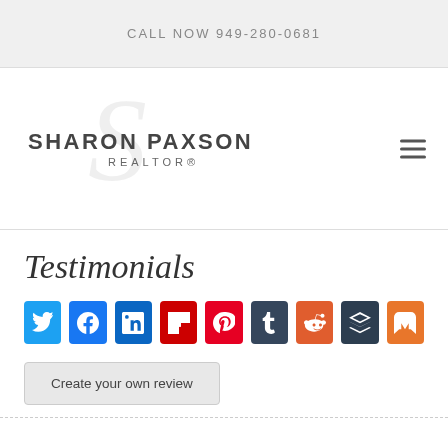CALL NOW 949-280-0681
[Figure (logo): Sharon Paxson Realtor logo with stylized S watermark and hamburger menu icon]
Testimonials
[Figure (infographic): Social sharing buttons row: Twitter, Facebook, LinkedIn, Flipboard, Pinterest, Tumblr, Reddit, Buffer, Mix]
Create your own review